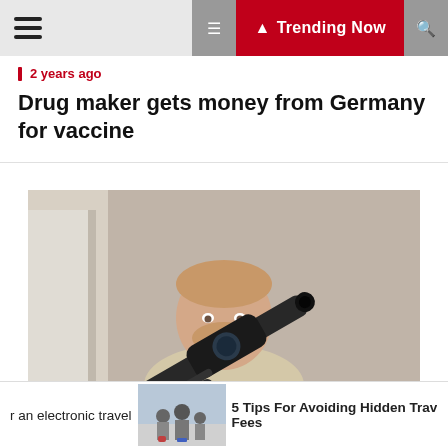Trending Now
2 years ago
Drug maker gets money from Germany for vaccine
[Figure (photo): Man holding a firearm pointed toward the camera in a residential setting]
2 years ago
Accused Whitmer kidnapper Kaleb Franks tries to leave jail on bond
r an electronic travel   5 Tips For Avoiding Hidden Travel Fees